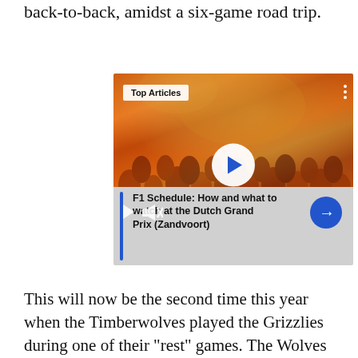The Grizzlies are on the tail end of the dreaded road back-to-back, amidst a six-game road trip.
[Figure (screenshot): Embedded video player showing an orange-tinted crowd photo with 'Top Articles' badge, a white play button in center, mute icon, and a blue arrow button. Caption below reads: 'F1 Schedule: How and what to watch at the Dutch Grand Prix (Zandvoort)']
This will now be the second time this year when the Timberwolves played the Grizzlies during one of their “rest” games. The Wolves had their home opener this year against a barren Grizzlies roster and won 116-80.